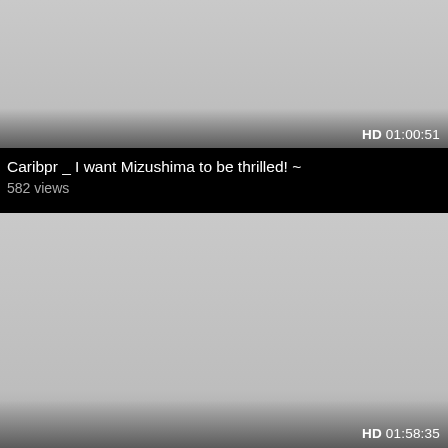[Figure (screenshot): Video thumbnail placeholder showing a grey gradient rectangle with HD badge and duration 01:00:51 in bottom right corner]
Caribpr _ I want Mizushima to be thrilled! ~
582 views
[Figure (screenshot): Video thumbnail placeholder showing a grey gradient rectangle with HD badge and duration 01:58:35 in bottom right corner]